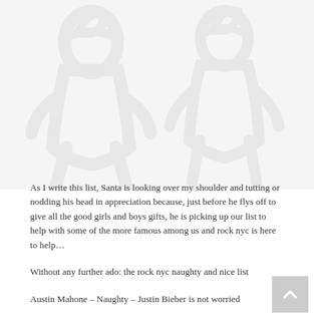[Figure (illustration): Large faint watermark / decorative background illustration of Santa Claus silhouette figures in light gray, occupying the upper portion of the page.]
As I write this list, Santa is looking over my shoulder and tutting or nodding his head in appreciation because, just before he flys off to give all the good girls and boys gifts, he is picking up our list to help with some of the more famous among us and rock nyc is here to help…
Without any further ado: the rock nyc naughty and nice list
Austin Mahone – Naughty – Justin Bieber is not worried
Beyonce – Nice – She does it with the lights out
Bono – Naughty – Recorded the worst tribute to Nelson